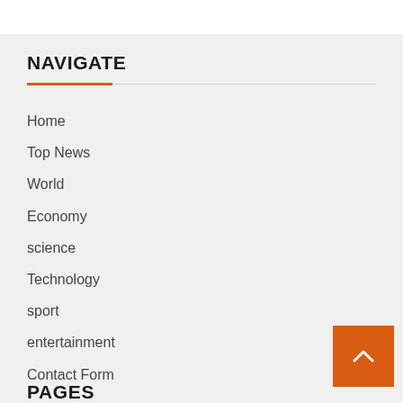NAVIGATE
Home
Top News
World
Economy
science
Technology
sport
entertainment
Contact Form
PAGES